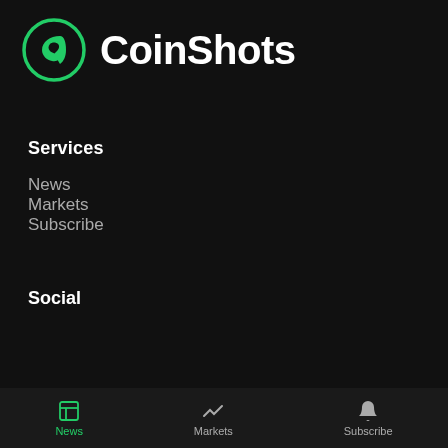[Figure (logo): CoinShots logo: green circle with white S-shaped coin icon and white text 'CoinShots']
Services
News
Markets
Subscribe
Social
[Figure (illustration): Social media icons: Twitter, Instagram, Facebook, Telegram, LinkedIn, YouTube]
Get in touch:
hello@coinshots.com
News | Markets | Subscribe